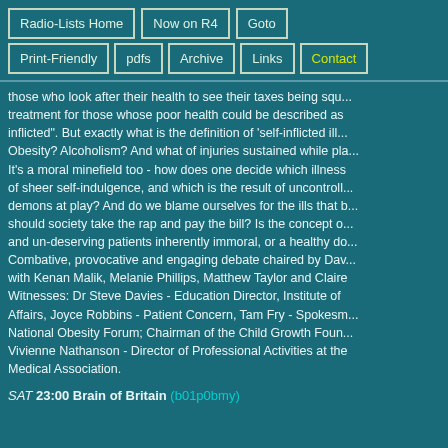Radio-Lists Home | Now on R4 | Goto | Print-Friendly | pdfs | Archive | Links | Contact
those who look after their health to see their taxes being squ... treatment for those whose poor health could be described as inflicted". But exactly what is the definition of 'self-inflicted ill... Obesity? Alcoholism? And what of injuries sustained while pla... It's a moral minefield too - how does one decide which illness of sheer self-indulgence, and which is the result of uncontroll... demons at play? And do we blame ourselves for the ills that b... should society take the rap and pay the bill? Is the concept o... and un-deserving patients inherently immoral, or a healthy do... Combative, provocative and engaging debate chaired by Dav... with Kenan Malik, Melanie Phillips, Matthew Taylor and Claire Witnesses: Dr Steve Davies - Education Director, Institute of Affairs, Joyce Robbins - Patient Concern, Tam Fry - Spokesm... National Obesity Forum; Chairman of the Child Growth Foun... Vivienne Nathanson - Director of Professional Activities at the Medical Association.
SAT 23:00 Brain of Britain (b01p0bmy)